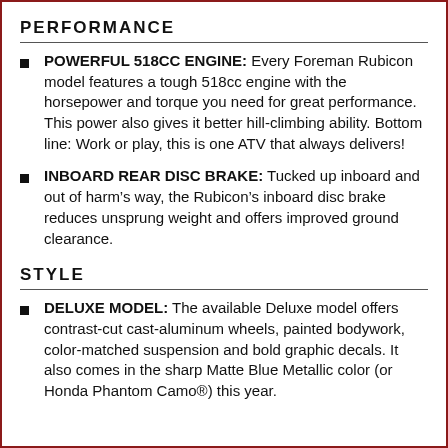PERFORMANCE
POWERFUL 518CC ENGINE: Every Foreman Rubicon model features a tough 518cc engine with the horsepower and torque you need for great performance. This power also gives it better hill-climbing ability. Bottom line: Work or play, this is one ATV that always delivers!
INBOARD REAR DISC BRAKE: Tucked up inboard and out of harm’s way, the Rubicon’s inboard disc brake reduces unsprung weight and offers improved ground clearance.
STYLE
DELUXE MODEL: The available Deluxe model offers contrast-cut cast-aluminum wheels, painted bodywork, color-matched suspension and bold graphic decals. It also comes in the sharp Matte Blue Metallic color (or Honda Phantom Camo®) this year.